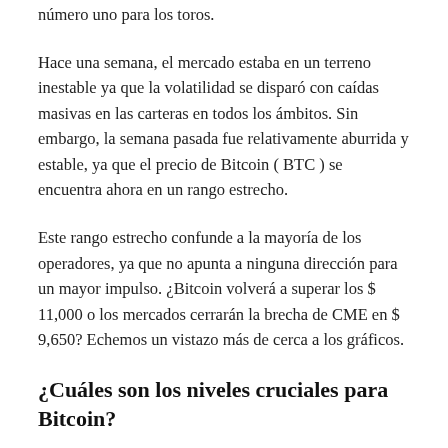número uno para los toros.
Hace una semana, el mercado estaba en un terreno inestable ya que la volatilidad se disparó con caídas masivas en las carteras en todos los ámbitos. Sin embargo, la semana pasada fue relativamente aburrida y estable, ya que el precio de Bitcoin ( BTC ) se encuentra ahora en un rango estrecho.
Este rango estrecho confunde a la mayoría de los operadores, ya que no apunta a ninguna dirección para un mayor impulso. ¿Bitcoin volverá a superar los $ 11,000 o los mercados cerrarán la brecha de CME en $ 9,650? Echemos un vistazo más de cerca a los gráficos.
¿Cuáles son los niveles cruciales para Bitcoin?
El dólar estadounidense es la moneda en la que debe